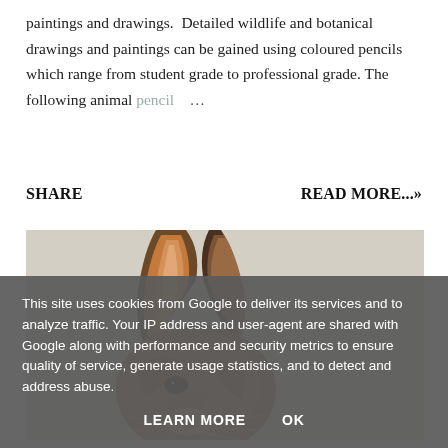paintings and drawings. Detailed wildlife and botanical drawings and paintings can be gained using coloured pencils which range from student grade to professional grade. The following animal pencil …
SHARE
READ MORE...»
[Figure (illustration): Close-up coloured pencil drawing of a hare's head and ears, showing detailed fur texture in brown, orange, and dark tones against a light grey background.]
This site uses cookies from Google to deliver its services and to analyze traffic. Your IP address and user-agent are shared with Google along with performance and security metrics to ensure quality of service, generate usage statistics, and to detect and address abuse.
LEARN MORE   OK